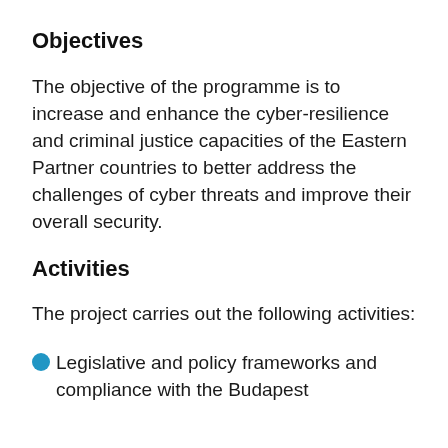Objectives
The objective of the programme is to increase and enhance the cyber-resilience and criminal justice capacities of the Eastern Partner countries to better address the challenges of cyber threats and improve their overall security.
Activities
The project carries out the following activities:
Legislative and policy frameworks and compliance with the Budapest